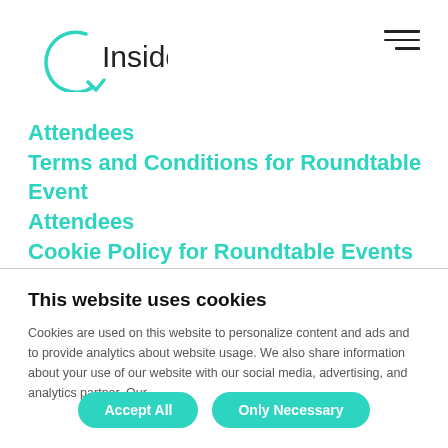[Figure (logo): Insider logo — circle with arrow and text 'Insider']
Attendees
Terms and Conditions for Roundtable Event Attendees
Cookie Policy for Roundtable Events section
This website uses cookies
Cookies are used on this website to personalize content and ads and to provide analytics about website usage. We also share information about your use of our website with our social media, advertising, and analytics partner. Our